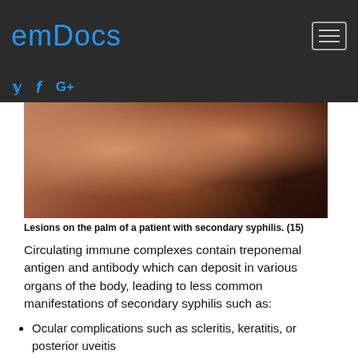emDocs
[Figure (photo): Close-up photo of a human palm showing lesions characteristic of secondary syphilis — reddish-brown skin with visible markings and discoloration.]
Lesions on the palm of a patient with secondary syphilis. (15)
Circulating immune complexes contain treponemal antigen and antibody which can deposit in various organs of the body, leading to less common manifestations of secondary syphilis such as:
Ocular complications such as scleritis, keratitis, or posterior uveitis
Sensorineural deafness or tinnitus
Proteinuria, nephrotic, or nephritic syndrome